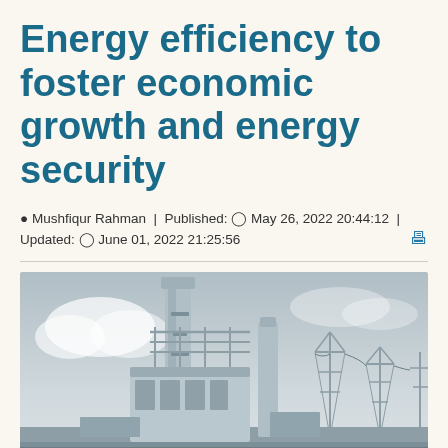Energy efficiency to foster economic growth and energy security
Mushfiqur Rahman | Published: May 26, 2022 20:44:12 | Updated: June 01, 2022 21:25:56
[Figure (photo): Industrial power plant or energy facility with large chimneys/stacks, scaffolding structures, and transmission towers against an overcast sky.]